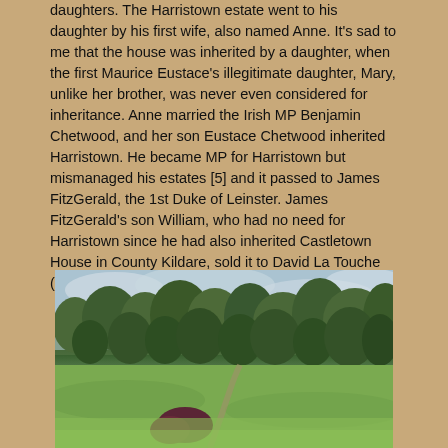daughters. The Harristown estate went to his daughter by his first wife, also named Anne. It's sad to me that the house was inherited by a daughter, when the first Maurice Eustace's illegitimate daughter, Mary, unlike her brother, was never even considered for inheritance. Anne married the Irish MP Benjamin Chetwood, and her son Eustace Chetwood inherited Harristown. He became MP for Harristown but mismanaged his estates [5] and it passed to James FitzGerald, the 1st Duke of Leinster. James FitzGerald's son William, who had no need for Harristown since he had also inherited Castletown House in County Kildare, sold it to David La Touche (1703-1785) in 1768. [6]
[Figure (photo): A landscape photograph showing a green meadow in the foreground with a path, dense trees and woodland in the middle ground, and an overcast grey-blue sky above.]